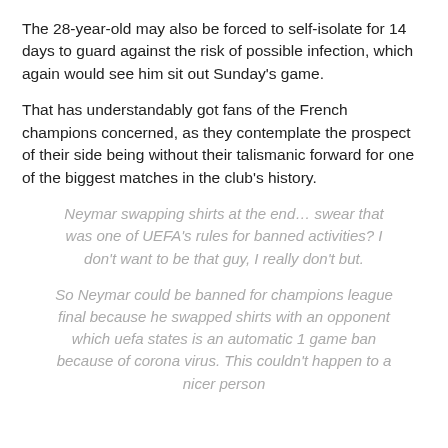The 28-year-old may also be forced to self-isolate for 14 days to guard against the risk of possible infection, which again would see him sit out Sunday's game.
That has understandably got fans of the French champions concerned, as they contemplate the prospect of their side being without their talismanic forward for one of the biggest matches in the club's history.
Neymar swapping shirts at the end… swear that was one of UEFA's rules for banned activities? I don't want to be that guy, I really don't but.
So Neymar could be banned for champions league final because he swapped shirts with an opponent which uefa states is an automatic 1 game ban because of corona virus. This couldn't happen to a nicer person